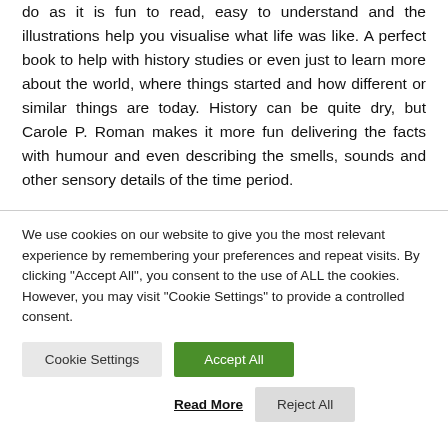do as it is fun to read, easy to understand and the illustrations help you visualise what life was like. A perfect book to help with history studies or even just to learn more about the world, where things started and how different or similar things are today. History can be quite dry, but Carole P. Roman makes it more fun delivering the facts with humour and even describing the smells, sounds and other sensory details of the time period.
We use cookies on our website to give you the most relevant experience by remembering your preferences and repeat visits. By clicking "Accept All", you consent to the use of ALL the cookies. However, you may visit "Cookie Settings" to provide a controlled consent.
Cookie Settings | Accept All | Read More | Reject All